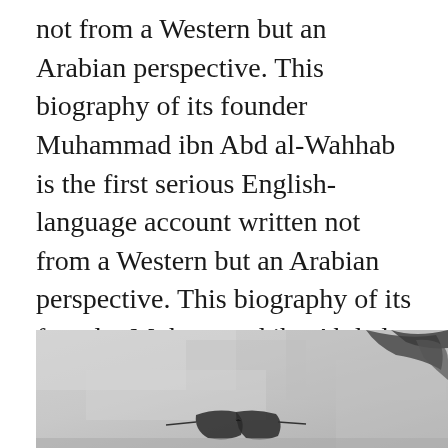not from a Western but an Arabian perspective. This biography of its founder Muhammad ibn Abd al-Wahhab is the first serious English-language account written not from a Western but an Arabian perspective. This biography of its founder Muhammad ibn Abd al-Wahhab is the first serious.
[Figure (photo): Partial black and white photograph showing a figure, cropped at bottom of page]